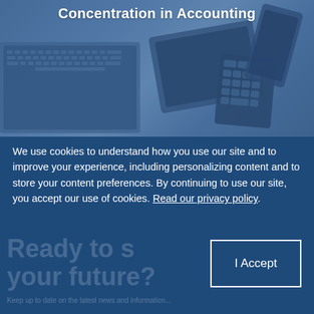Concentration in Accounting
[Figure (photo): Blue-tinted overhead photo of office desk with laptop keyboard, calculator, smartphone, and tablet arranged together]
We use cookies to understand how you use our site and to improve your experience, including personalizing content and to store your content preferences. By continuing to use our site, you accept our use of cookies. Read our privacy policy.
I Accept